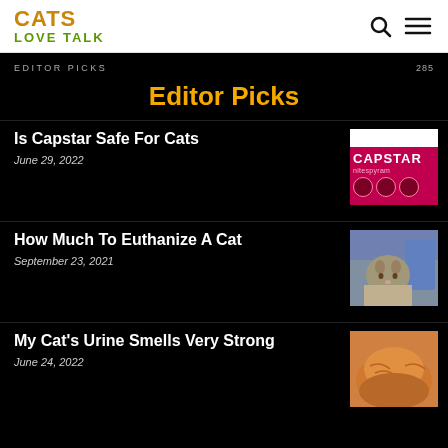CATS LOVE TALK
EDITOR PICKS
Editor Picks
Is Capstar Safe For Cats
June 29, 2022
[Figure (photo): Capstar nitenpyram product box in pink and black]
How Much To Euthanize A Cat
September 23, 2021
[Figure (photo): Tabby kitten looking at camera]
My Cat's Urine Smells Very Strong
June 24, 2022
[Figure (photo): Orange cat lying down, fluffy fur]